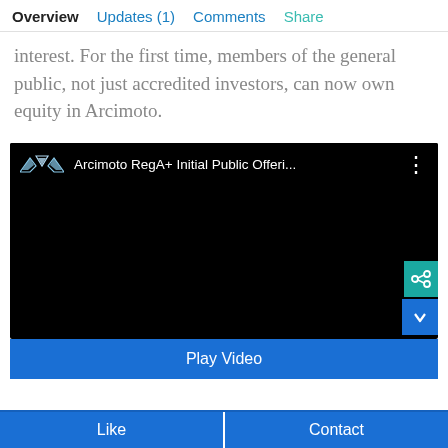Overview   Updates (1)   Comments   Share
interest. For the first time, members of the general public, not just accredited investors, can now own equity in Arcimoto.
[Figure (screenshot): Embedded video player with dark/black background showing 'Arcimoto RegA+ Initial Public Offeri...' title with Arcimoto wing logo, three-dot menu, a share icon overlay, and a down-arrow overlay. Below the video is a blue 'Play Video' button.]
Like   Contact